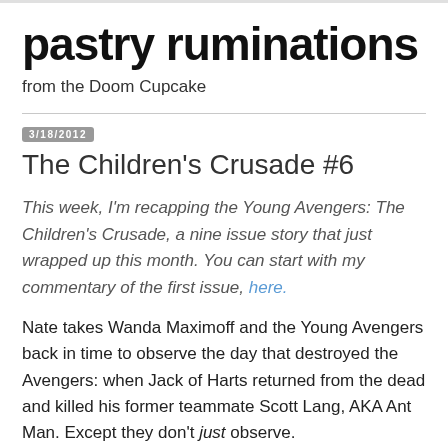pastry ruminations
from the Doom Cupcake
3/18/2012
The Children's Crusade #6
This week, I'm recapping the Young Avengers: The Children's Crusade, a nine issue story that just wrapped up this month. You can start with my commentary of the first issue, here.
Nate takes Wanda Maximoff and the Young Avengers back in time to observe the day that destroyed the Avengers: when Jack of Harts returned from the dead and killed his former teammate Scott Lang, AKA Ant Man. Except they don't just observe.
Cassie is able to get her father to a safe distance before the